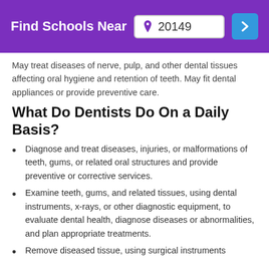Find Schools Near 20149
May treat diseases of nerve, pulp, and other dental tissues affecting oral hygiene and retention of teeth. May fit dental appliances or provide preventive care.
What Do Dentists Do On a Daily Basis?
Diagnose and treat diseases, injuries, or malformations of teeth, gums, or related oral structures and provide preventive or corrective services.
Examine teeth, gums, and related tissues, using dental instruments, x-rays, or other diagnostic equipment, to evaluate dental health, diagnose diseases or abnormalities, and plan appropriate treatments.
Remove diseased tissue, using surgical instruments